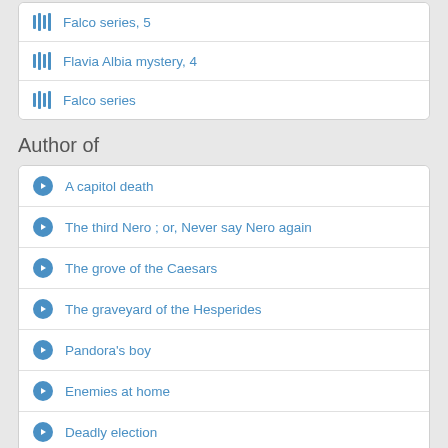Falco series, 5
Flavia Albia mystery, 4
Falco series
Author of
A capitol death
The third Nero ; or, Never say Nero again
The grove of the Caesars
The graveyard of the Hesperides
Pandora's boy
Enemies at home
Deadly election
A comedy of terrors